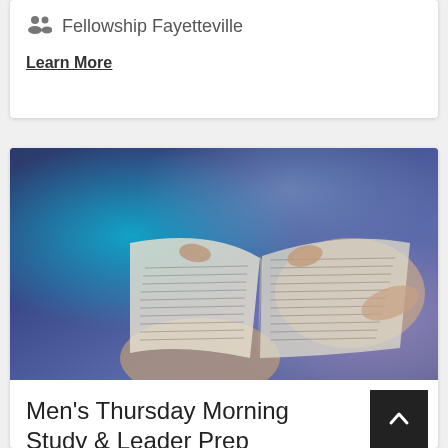Fellowship Fayetteville
Learn More
[Figure (photo): Hands holding open a worn Bible against a blue/purple bokeh background]
Men's Thursday Morning Study & Leader Prep
Thu, September 8